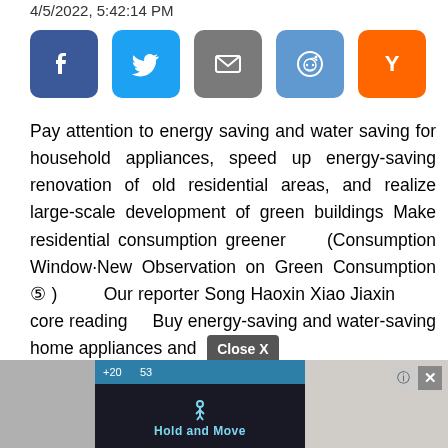4/5/2022, 5:42:14 PM
[Figure (infographic): Row of five social sharing buttons: Facebook (dark blue, f icon), Twitter (light blue, bird icon), Email (grey, envelope icon), Reddit (blue, alien icon), Hacker News/YCombinator (orange, Y icon)]
Pay attention to energy saving and water saving for household appliances, speed up energy-saving renovation of old residential areas, and realize large-scale development of green buildings Make residential consumption greener (Consumption Window·New Observation on Green Consumption ⑤ ) Our reporter Song Haoxin Xiao Jiaxin core reading Buy energy-saving and water-saving home appliances and
[Figure (screenshot): Advertisement overlay at the bottom showing a dark background with 'Hold and Move' text in cyan/blue with a person icon, a top blue bar with numbers +20 and 33, a Close X button in grey, and a question mark and X button in the top right corner. Left side shows a grey placeholder image area. Right side shows a photo of bare trees.]